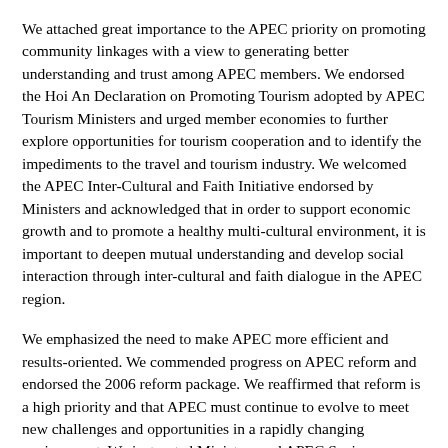We attached great importance to the APEC priority on promoting community linkages with a view to generating better understanding and trust among APEC members. We endorsed the Hoi An Declaration on Promoting Tourism adopted by APEC Tourism Ministers and urged member economies to further explore opportunities for tourism cooperation and to identify the impediments to the travel and tourism industry. We welcomed the APEC Inter-Cultural and Faith Initiative endorsed by Ministers and acknowledged that in order to support economic growth and to promote a healthy multi-cultural environment, it is important to deepen mutual understanding and develop social interaction through inter-cultural and faith dialogue in the APEC region.
We emphasized the need to make APEC more efficient and results-oriented. We commended progress on APEC reform and endorsed the 2006 reform package. We reaffirmed that reform is a high priority and that APEC must continue to evolve to meet new challenges and opportunities in a rapidly changing environment. We instructed Ministers and APEC Senior Officials to continue their work on APEC reform in 2007 and beyond, including the allocation of greater resources, further measures to streamline the organization, to improve evaluation and coordination, to strengthen and professionalize the Secretariat and to develop more effective delivery mechanisms for policy initiatives.